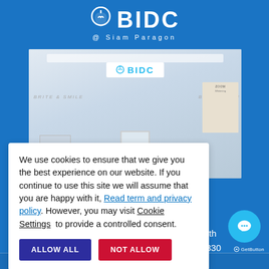[Figure (logo): BIDC @ Siam Paragon dental clinic logo in white on blue background]
[Figure (photo): Interior photo of BIDC dental clinic storefront at Siam Paragon with BIDC signage, Invisalign display, Brite & Smile branding, and Zoom whitening advertisements]
We use cookies to ensure that we give you the best experience on our website. If you continue to use this site we will assume that you are happy with it, Read term and privacy policy. However, you may visit Cookie Settings  to provide a controlled consent.
ALLOW ALL
NOT ALLOW
8 (North
ok 10330
Email : ds@bangkokdentalcenter.com